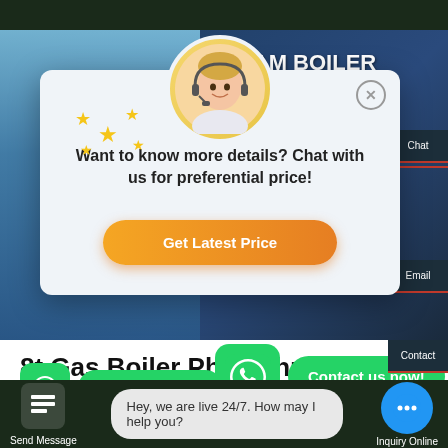STEAM BOILER - Integrated Steam Boiler
[Figure (screenshot): Website screenshot showing a chat popup modal over a steam boiler product page. The popup features a customer service representative avatar, star decorations, the message 'Want to know more details? Chat with us for preferential price!' and a 'Get Latest Price' orange button. In the background is a building with flags. The right sidebar shows Chat, Email, Contact options. Below the modal is a page title '8t Gas Boiler Ph... Lithuania' with WhatsApp contact buttons and a bottom bar with 'Send Message', a live chat bubble 'Hey, we are live 24/7. How may I help you?', and 'Inquiry Online' button.]
Want to know more details? Chat with us for preferential price!
Get Latest Price
8t Gas Boiler Ph... Lithuania
Contact us now!
Contact us now!
Hey, we are live 24/7. How may I help you?
Send Message
Inquiry Online
Chat
Email
Contact